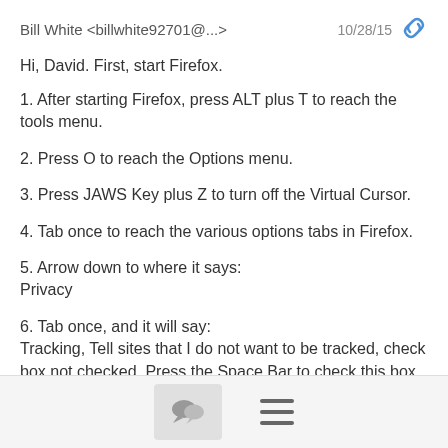Bill White <billwhite92701@...>   10/28/15
Hi, David. First, start Firefox.
1. After starting Firefox, press ALT plus T to reach the tools menu.
2. Press O to reach the Options menu.
3. Press JAWS Key plus Z to turn off the Virtual Cursor.
4. Tab once to reach the various options tabs in Firefox.
5. Arrow down to where it says:
Privacy
6. Tab once, and it will say:
Tracking, Tell sites that I do not want to be tracked, check box not checked. Press the Space Bar to check this box.